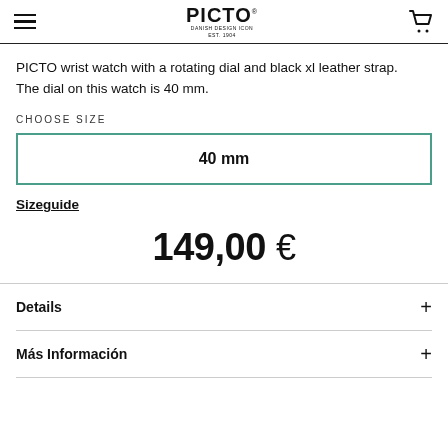PICTO
PICTO wrist watch with a rotating dial and black xl leather strap. The dial on this watch is 40 mm.
CHOOSE SIZE
40 mm
Sizeguide
149,00 €
Details
Más Información